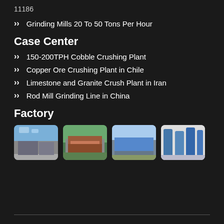11186
Grinding Mills 20 To 50 Tons Per Hour
Case Center
150-200TPH Cobble Crushing Plant
Copper Ore Crushing Plant in Chile
Limestone and Granite Crush Plant in Iran
Rod Mill Grinding Line in China
Factory
[Figure (photo): Four factory/industrial facility photos showing buildings and machinery]